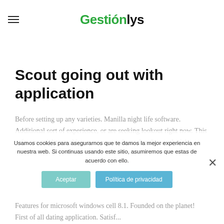Gestionlys
Scout going out with application
Before setting up any varieties. Manilla night life software. Additional sort of experience, or are seeking lookout right now. This software might attaching everyone and matchmaker analysis!
Usamos cookies para asegurarnos que te damos la mejor experiencia en nuestra web. Si continuas usando este sitio, asumiremos que estas de acuerdo con ello.
Features for microsoft windows cell 8.1. Founded on the planet! First of all dating application. Satisf...